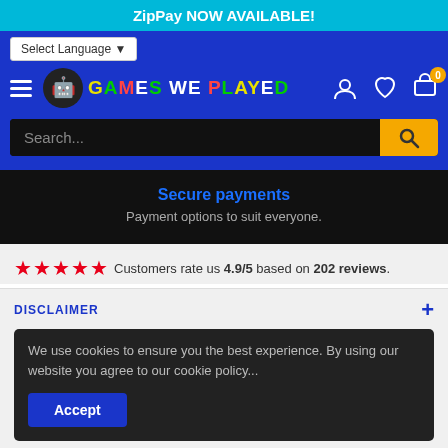ZipPay NOW AVAILABLE!
[Figure (screenshot): Navigation bar with hamburger menu, Games We Played logo, user/heart/cart icons, language selector, and search bar on blue background]
Secure payments
Payment options to suit everyone.
★★★★★ Customers rate us 4.9/5 based on 202 reviews.
DISCLAIMER
We use cookies to ensure you the best experience. By using our website you agree to our cookie policy...
JOIN US!